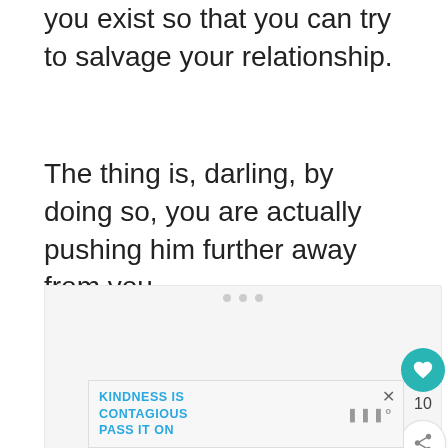you exist so that you can try to salvage your relationship.
The thing is, darling, by doing so, you are actually pushing him further away from you.
[Figure (other): Gray placeholder content box with three dots at top]
[Figure (other): Teal circular like/heart button with count 10 and share button below]
[Figure (other): Advertisement banner: KINDNESS IS CONTAGIOUS PASS IT ON with close X button and logo]